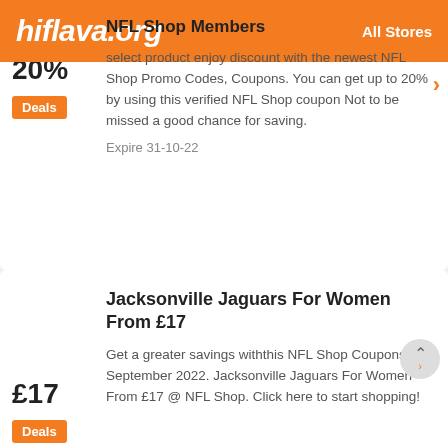hiflava.org  All Stores
NFL Shop Members
select product enjoy discount with the newest NFL Shop Promo Codes, Coupons. You can get up to 20% by using this verified NFL Shop coupon Not to be missed a good chance for saving.
Expire 31-10-22
Jacksonville Jaguars For Women From £17
Get a greater savings withthis NFL Shop Coupons for September 2022. Jacksonville Jaguars For Women From £17 @ NFL Shop. Click here to start shopping!